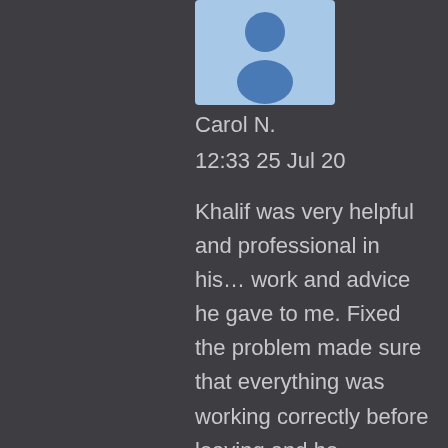[Figure (illustration): Generic user avatar icon with blue background — circle head and body silhouette in darker blue]
Carol N.
12:33 25 Jul 20
Khalif was very helpful and professional in his… work and advice he gave to me. Fixed the problem made sure that everything was working correctly before leaving and he respected the fact that we were in isolation, wore mask, gloves and shoe covering. on my list of people who I can ask